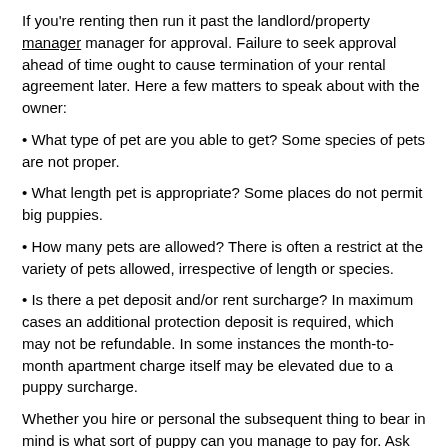If you're renting then run it past the landlord/property manager for approval. Failure to seek approval ahead of time ought to cause termination of your rental agreement later. Here a few matters to speak about with the owner:
What type of pet are you able to get? Some species of pets are not proper.
What length pet is appropriate? Some places do not permit big puppies.
How many pets are allowed? There is often a restrict at the variety of pets allowed, irrespective of length or species.
Is there a pet deposit and/or rent surcharge? In maximum cases an additional protection deposit is required, which may not be refundable. In some instances the month-to-month apartment charge itself may be elevated due to a puppy surcharge.
Whether you hire or personal the subsequent thing to bear in mind is what sort of puppy can you manage to pay for. Ask yourself how a great deal you may manage to pay for in each time and money.
Let's speak approximately cash right here. The price of a pet is broken up into start up costs and protection fees. The price to collect the puppy is not protected in the begin up expenses. What is covered are things like preliminary clinical prices (spay/neuter, vaccination shots, and so on.), training, litter box, aquarium and so on. The first yr of possession, which